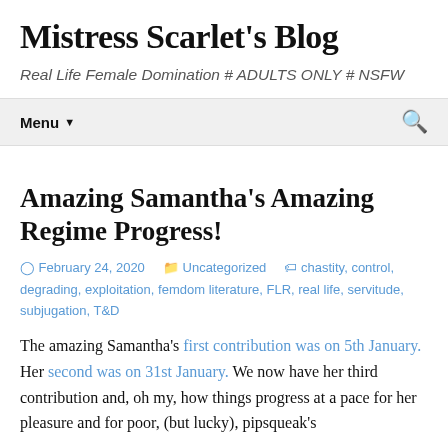Mistress Scarlet's Blog
Real Life Female Domination # ADULTS ONLY # NSFW
Menu ▾
Amazing Samantha's Amazing Regime Progress!
February 24, 2020   Uncategorized   chastity, control, degrading, exploitation, femdom literature, FLR, real life, servitude, subjugation, T&D
The amazing Samantha's first contribution was on 5th January. Her second was on 31st January. We now have her third contribution and, oh my, how things progress at a pace for her pleasure and for poor, (but lucky), pipsqueak's